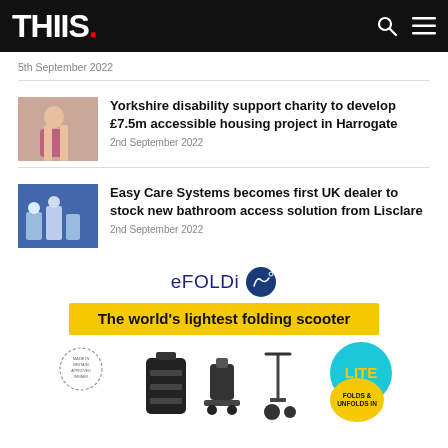THIIS.
5th September 2022
Yorkshire disability support charity to develop £7.5m accessible housing project in Harrogate
2nd September 2022
Easy Care Systems becomes first UK dealer to stock new bathroom access solution from Lisclare
2nd September 2022
[Figure (infographic): eFOLDi advertisement showing logo, 'The world's lightest folding scooter' banner, product images and LITE badge]